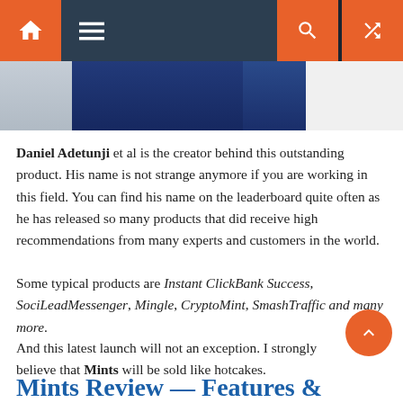[Figure (photo): Partial photo of person(s) in dark blue clothing, cropped at top of page below navigation bar]
Daniel Adetunji et al is the creator behind this outstanding product. His name is not strange anymore if you are working in this field. You can find his name on the leaderboard quite often as he has released so many products that did receive high recommendations from many experts and customers in the world.
Some typical products are Instant ClickBank Success, SociLeadMessenger, Mingle, CryptoMint, SmashTraffic and many more.
And this latest launch will not an exception. I strongly believe that Mints will be sold like hotcakes.
Mints Review — Features &